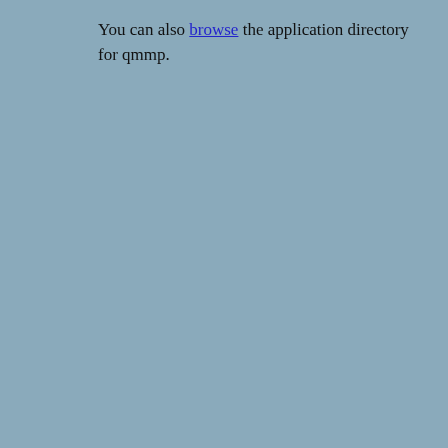You can also browse the application directory for qmmp.